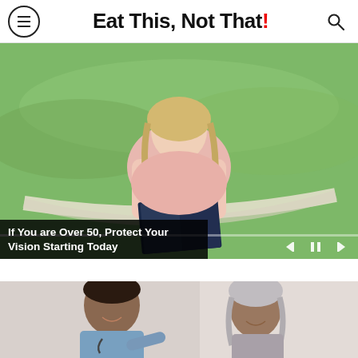Eat This, Not That!
[Figure (photo): Woman with blonde hair lying in a hammock reading a book outdoors, with green background]
If You are Over 50, Protect Your Vision Starting Today
[Figure (photo): A male doctor with stethoscope smiling and talking with an elderly grey-haired woman patient]